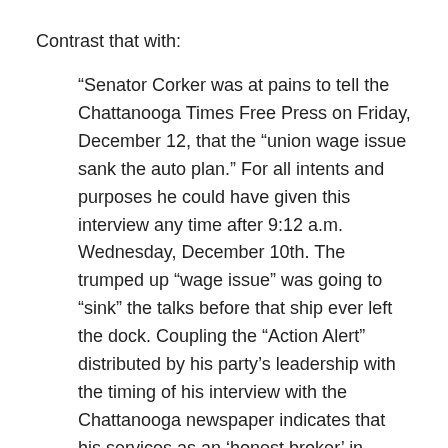Contrast that with:
“Senator Corker was at pains to tell the Chattanooga Times Free Press on Friday, December 12, that the “union wage issue sank the auto plan.” For all intents and purposes he could have given this interview any time after 9:12 a.m. Wednesday, December 10th. The trumped up “wage issue” was going to “sink” the talks before that ship ever left the dock. Coupling the “Action Alert” distributed by his party’s leadership with the timing of his interview with the Chattanooga newspaper indicates that his services as an ‘honest broker’ in political negotiations were highly suspect from the onset.”
Hmmm.